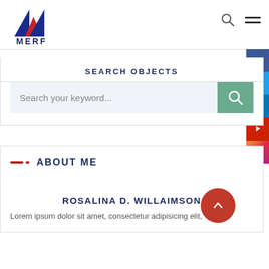[Figure (logo): MERF logo with blue and red mountain/letter M shape above the word MERF in dark blue]
SEARCH OBJECTS
Search your keyword...
ABOUT ME
ROSALINA D. WILLAIMSON
Lorem ipsum dolor sit amet, consectetur adipisicing elit,